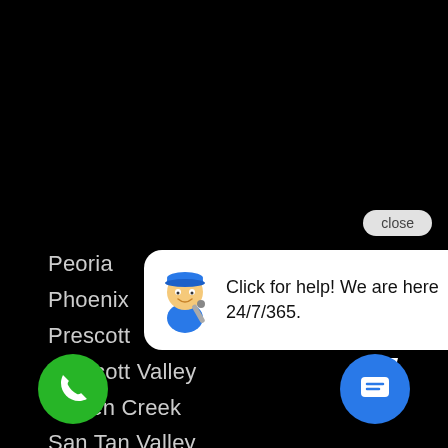Peoria
Phoenix
Prescott
Prescott Valley
Queen Creek
San Tan Valley
Scottsdale
Sun City
Sun City West
Surprise
Tempe
[Figure (screenshot): Chat popup bubble with mascot icon and text 'Click for help! We are here 24/7/365.' with a close button and blue chat icon button, plus green phone call button.]